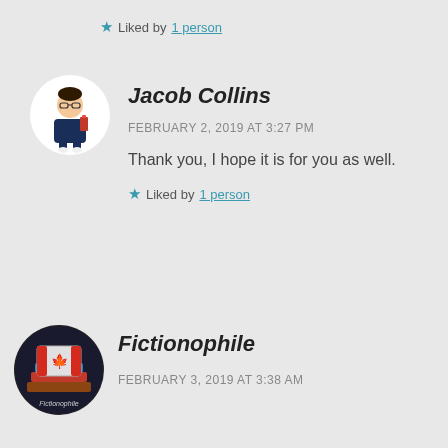★ Liked by 1 person
[Figure (illustration): Avatar of Jacob Collins: cartoon bitmoji figure of a person holding books, on white circular background]
Jacob Collins
FEBRUARY 2, 2019 AT 3:27 PM
Thank you, I hope it is for you as well.
★ Liked by 1 person
[Figure (illustration): Avatar of Fictionophile: circular logo with books and Canadian flag, dark background]
Fictionophile
FEBRUARY 3, 2019 AT 3:38 AM